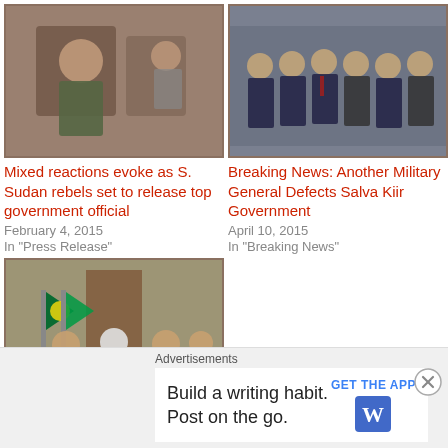[Figure (photo): Military officer seated, South Sudan rebels photo]
Mixed reactions evoke as S. Sudan rebels set to release top government official
February 4, 2015
In "Press Release"
[Figure (photo): Group of men in suits standing together, officials]
Breaking News: Another Military General Defects Salva Kiir Government
April 10, 2015
In "Breaking News"
[Figure (photo): Meeting scene with South Sudan flags]
The Insignificant SPLM-Juba is Fooling Itself
Advertisements
Build a writing habit. Post on the go.
GET THE APP